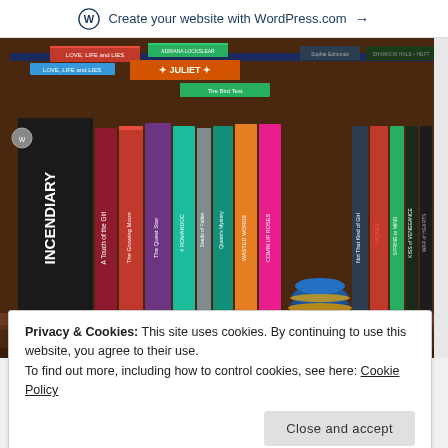Create your website with WordPress.com →
[Figure (photo): A wooden bookshelf filled with many books of various colors and sizes, including visible titles such as INCENDIARY, JULIET, The Quest Star, Romandoc, Wasted Words, Comin Up Roses, Kiss of Vengeance, War of Hearts, and others. A decorative blue and gold bowl sits on the shelf among the books.]
[Figure (photo): Partial view of a book cover showing illustrated artwork with dark and light feathers or wings.]
Privacy & Cookies: This site uses cookies. By continuing to use this website, you agree to their use.
To find out more, including how to control cookies, see here: Cookie Policy
Close and accept